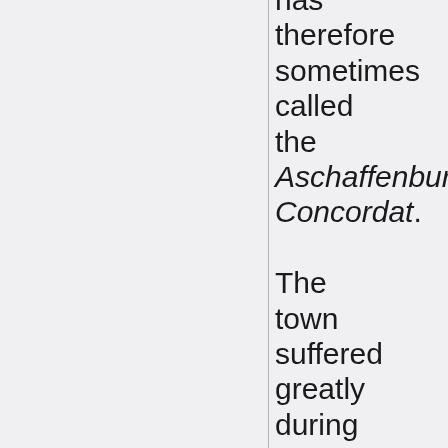has therefore sometimes called the Aschaffenburg Concordat. The town suffered greatly during the Thirty Years' War